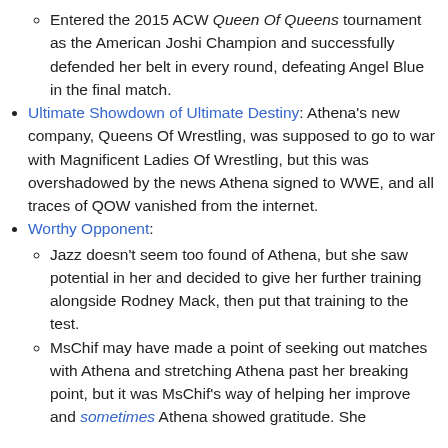Entered the 2015 ACW Queen Of Queens tournament as the American Joshi Champion and successfully defended her belt in every round, defeating Angel Blue in the final match.
Ultimate Showdown of Ultimate Destiny: Athena's new company, Queens Of Wrestling, was supposed to go to war with Magnificent Ladies Of Wrestling, but this was overshadowed by the news Athena signed to WWE, and all traces of QOW vanished from the internet.
Worthy Opponent:
Jazz doesn't seem too found of Athena, but she saw potential in her and decided to give her further training alongside Rodney Mack, then put that training to the test.
MsChif may have made a point of seeking out matches with Athena and stretching Athena past her breaking point, but it was MsChif's way of helping her improve and sometimes Athena showed gratitude. She